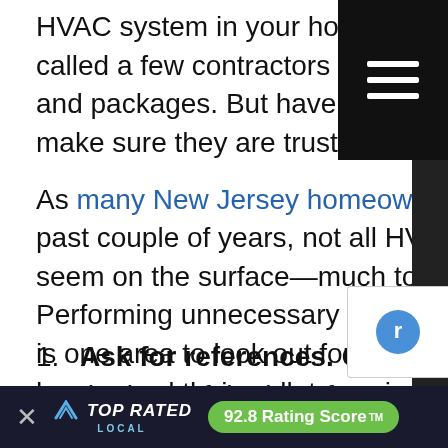HVAC system in your home. Like many homeowners, you've called a few contractors in for estimates so compare pricing and packages. But have you checked beyond the price quote to make sure they are trustworthy?
As many New Jersey homeowners have discovered over the past couple of years, not all HVAC contractors are what they seem on the surface—much to the consumers' dismay. Performing unnecessary work and driving up the cost of the job is one area to look out for. But how can consumers protect their homes and their wallets against unscrupulous contractors? Here are some tips for consumers anywhere and specifically for those in New Jersey, where we conduct business.
1. Ask for references. Of course, any contractor will give you the best of the best from recent jobs but this will give you an opportunity to ask past customers pointed questions about their experience and pass along feedback. If the...